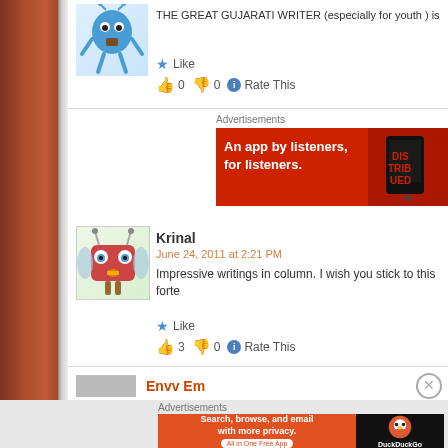[Figure (illustration): Blue cartoon character avatar at top of comment]
THE GREAT GUJARATI WRITER (especially for youth ) is
★ Like
👍 0 👎 0 ℹ Rate This
Advertisements
[Figure (other): Red advertisement banner: An app by listeners, for listeners.]
[Figure (illustration): Red robot/alien cartoon avatar for Krinal comment]
Krinal
June 24, 2011 at 2:21 PM
Impressive writings in column. I wish you stick to this forte
★ Like
👍 3 👎 0 ℹ Rate This
Envv Em
Advertisements
[Figure (other): DuckDuckGo advertisement: Search, browse, and email with more privacy. All in One Free App]